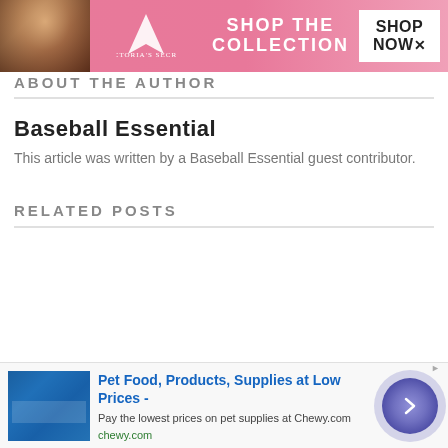[Figure (photo): Victoria's Secret advertisement banner with model, VS logo, 'SHOP THE COLLECTION' text, and 'SHOP NOW' button]
ABOUT THE AUTHOR
Baseball Essential
This article was written by a Baseball Essential guest contributor.
RELATED POSTS
[Figure (photo): Dark close-up photo of baseball bats or equipment with wooden surface visible at bottom]
[Figure (photo): Chewy.com advertisement: Pet Food, Products, Supplies at Low Prices - Pay the lowest prices on pet supplies at Chewy.com]